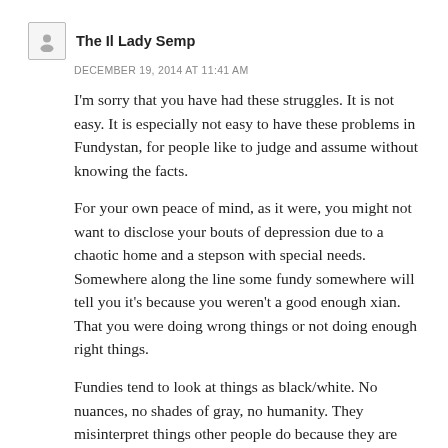The Il Lady Semp
DECEMBER 19, 2014 AT 11:41 AM
I'm sorry that you have had these struggles. It is not easy. It is especially not easy to have these problems in Fundystan, for people like to judge and assume without knowing the facts.
For your own peace of mind, as it were, you might not want to disclose your bouts of depression due to a chaotic home and a stepson with special needs. Somewhere along the line some fundy somewhere will tell you it’s because you weren’t a good enough xian. That you were doing wrong things or not doing enough right things.
Fundies tend to look at things as black/white. No nuances, no shades of gray, no humanity. They misinterpret things other people do because they are